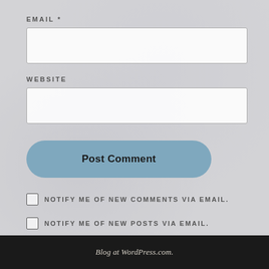EMAIL *
[Figure (screenshot): Email input text field, empty, white background with light gray border]
WEBSITE
[Figure (screenshot): Website input text field, empty, white background with light gray border]
Post Comment
NOTIFY ME OF NEW COMMENTS VIA EMAIL.
NOTIFY ME OF NEW POSTS VIA EMAIL.
Blog at WordPress.com.